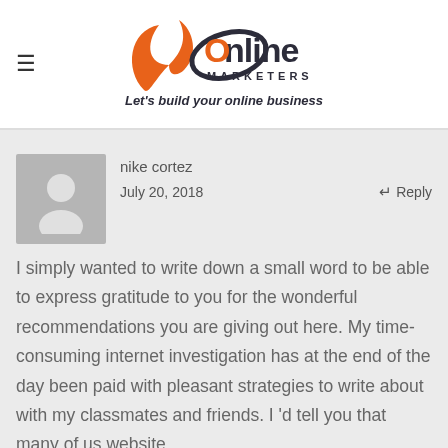[Figure (logo): JC Online Marketers logo with orange swirl graphic, text 'Online MARKETERS' and tagline 'Let's build your online business']
nike cortez
July 20, 2018
↩ Reply
I simply wanted to write down a small word to be able to express gratitude to you for the wonderful recommendations you are giving out here. My time-consuming internet investigation has at the end of the day been paid with pleasant strategies to write about with my classmates and friends. I 'd tell you that many of us website